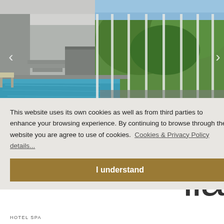[Figure (photo): Indoor swimming pool with large glass windows overlooking green hills and trees. Modern concrete architecture with lap pool featuring clear blue water. White structural columns along the glass facade.]
This website uses its own cookies as well as from third parties to enhance your browsing experience. By continuing to browse through the website you are agree to use of cookies.  Cookies & Privacy Policy details...
I understand